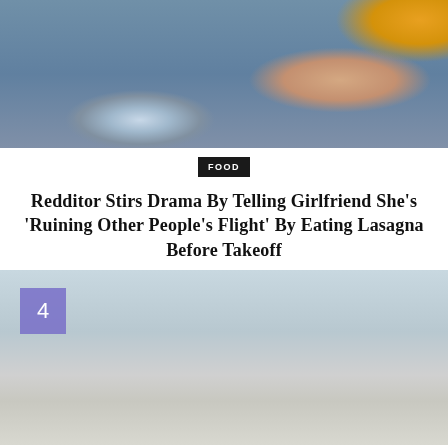[Figure (photo): A hand in a yellow sleeve reaching into a bowl of cereal/granola, placed on a surface with a blue/grey background.]
FOOD
Redditor Stirs Drama By Telling Girlfriend She's 'Ruining Other People's Flight' By Eating Lasagna Before Takeoff
[Figure (photo): A woman in a green sports bra and black leggings running outdoors near a concrete wall, with the number 4 displayed in a purple square badge in the top left.]
HEALTH AND SAFETY